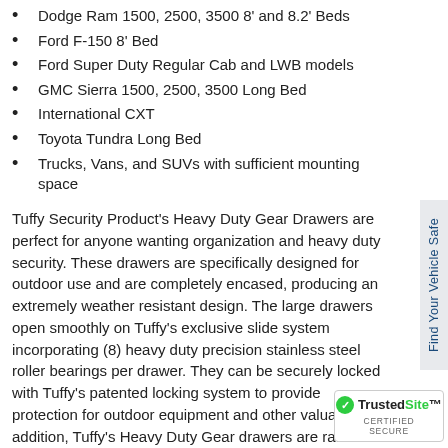Dodge Ram 1500, 2500, 3500 8' and 8.2' Beds
Ford F-150 8' Bed
Ford Super Duty Regular Cab and LWB models
GMC Sierra 1500, 2500, 3500 Long Bed
International CXT
Toyota Tundra Long Bed
Trucks, Vans, and SUVs with sufficient mounting space
Tuffy Security Product's Heavy Duty Gear Drawers are perfect for anyone wanting organization and heavy duty security. These drawers are specifically designed for outdoor use and are completely encased, producing an extremely weather resistant design. The large drawers open smoothly on Tuffy's exclusive slide system incorporating (8) heavy duty precision stainless steel roller bearings per drawer. They can be securely locked with Tuffy's patented locking system to provide protection for outdoor equipment and other valuables. In addition, Tuffy's Heavy Duty Gear drawers are rated to 2000# on top.